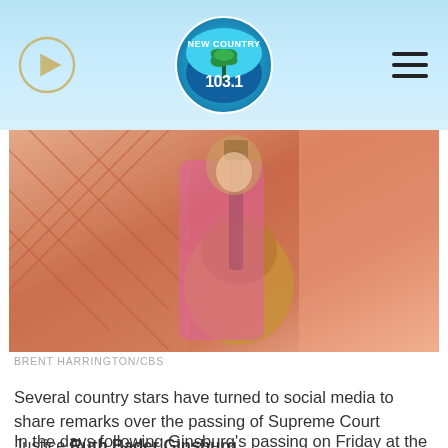New Country 103.1
[Figure (photo): Woman in pink/floral outfit playing acoustic guitar on stage with decorative backdrop]
BRENT HARRINGTON/CBS
Several country stars have turned to social media to share remarks over the passing of Supreme Court Justice Ruth Bader Ginsburg.
In the days following Ginsburg's passing on Friday at the age of 87 after a battle with pancreatic cancer, Maren Morris, Dolly Parton and Carly Pearce are among the country stars sharing their